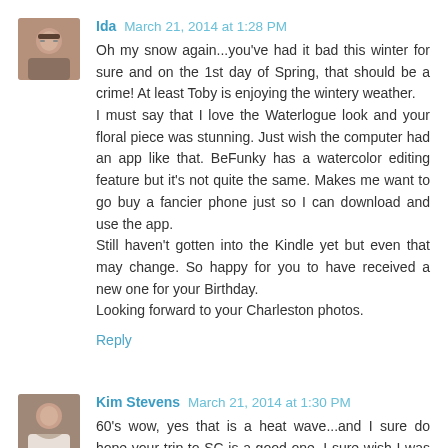[Figure (photo): Profile photo of commenter Ida, a woman with glasses]
Ida March 21, 2014 at 1:28 PM
Oh my snow again...you've had it bad this winter for sure and on the 1st day of Spring, that should be a crime! At least Toby is enjoying the wintery weather.
I must say that I love the Waterlogue look and your floral piece was stunning. Just wish the computer had an app like that. BeFunky has a watercolor editing feature but it's not quite the same. Makes me want to go buy a fancier phone just so I can download and use the app.
Still haven't gotten into the Kindle yet but even that may change. So happy for you to have received a new one for your Birthday.
Looking forward to your Charleston photos.
Reply
[Figure (photo): Profile photo of commenter Kim Stevens, a woman]
Kim Stevens March 21, 2014 at 1:30 PM
60's wow, yes that is a heat wave...and I sure do hope your trip to SC is a good one. I sure wish I was able to travel somewhere fun!